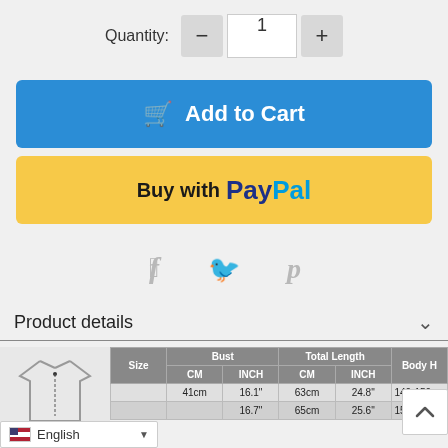Quantity: - 1 +
Add to Cart
Buy with PayPal
[Figure (infographic): Social share icons: Facebook, Twitter, Pinterest in gray]
Product details
| Size | Bust CM | Bust INCH | Total Length CM | Total Length INCH | Body H |
| --- | --- | --- | --- | --- | --- |
| ... | 41cm | 16.1" | 63cm | 24.8" | 140-150cm |
| ... | ... | 16.7" | 65cm | 25.6" | 150-160cm |